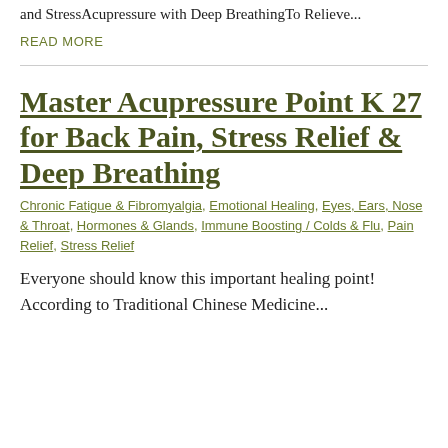and StressAcupressure with Deep BreathingTo Relieve...
READ MORE
Master Acupressure Point K 27 for Back Pain, Stress Relief & Deep Breathing
Chronic Fatigue & Fibromyalgia, Emotional Healing, Eyes, Ears, Nose & Throat, Hormones & Glands, Immune Boosting / Colds & Flu, Pain Relief, Stress Relief
Everyone should know this important healing point! According to Traditional Chinese Medicine...